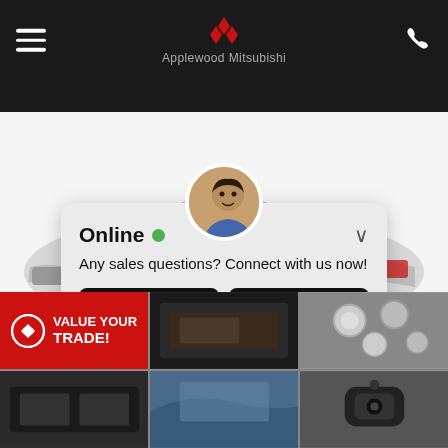Applewood Mitsubishi
[Figure (screenshot): Silver Mitsubishi Outlander SUV displayed on white background, partial view of front and side profile]
[Figure (screenshot): Chat popup widget showing online status with avatar photo of a smiling man, message 'Any sales questions? Connect with us now!' and two buttons: TEXT and CHAT]
[Figure (infographic): Bottom grid of 6 thumbnail images showing car accessories and features, with a red 'VALUE YOUR TRADE!' call-to-action overlay on first cell]